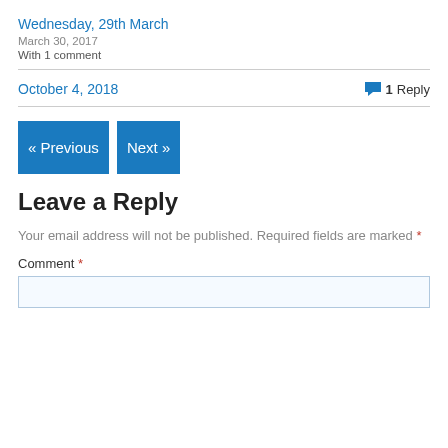Wednesday, 29th March
March 30, 2017
With 1 comment
October 4, 2018
1 Reply
« Previous
Next »
Leave a Reply
Your email address will not be published. Required fields are marked *
Comment *